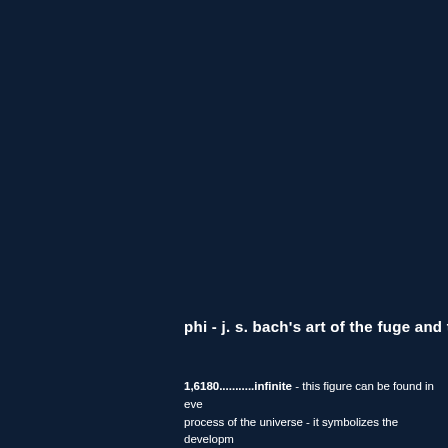phi  - j. s. bach's art of the fuge and the
1,6180...........infinite - this figure can be found in eve process of the universe - it symbolizes the developm bach's art of the fugue has always been an enigma. the renowned moder nstring quartet will perform this